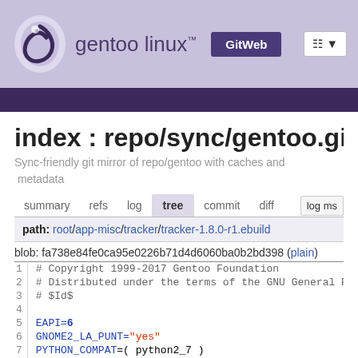gentoo linux™  GitWeb
index : repo/sync/gentoo.git
Sync-friendly git mirror of repo/gentoo with caches and metadata
summary  refs  log  tree  commit  diff  log ms
path: root/app-misc/tracker/tracker-1.8.0-r1.ebuild
blob: fa738e84fe0ca95e0226b71d4d6060ba0b2bd398 (plain)
| line | code |
| --- | --- |
| 1 | # Copyright 1999-2017 Gentoo Foundation |
| 2 | # Distributed under the terms of the GNU General Pu |
| 3 | # $Id$ |
| 4 |  |
| 5 | EAPI=6 |
| 6 | GNOME2_LA_PUNT="yes" |
| 7 | PYTHON_COMPAT=( python2_7 ) |
| 8 |  |
| 9 | inherit autotools bash-completion-r1 eutils gnome2 |